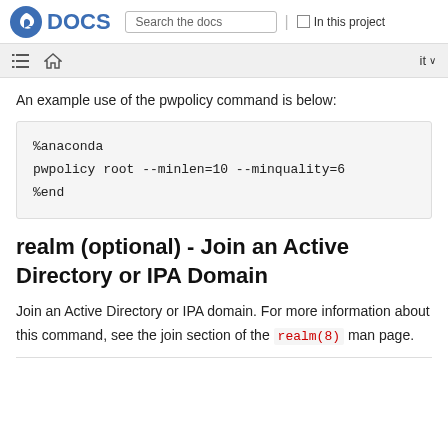Fedora DOCS — Search the docs | In this project
An example use of the pwpolicy command is below:
%anaconda
pwpolicy root --minlen=10 --minquality=6
%end
realm (optional) - Join an Active Directory or IPA Domain
Join an Active Directory or IPA domain. For more information about this command, see the join section of the realm(8) man page.